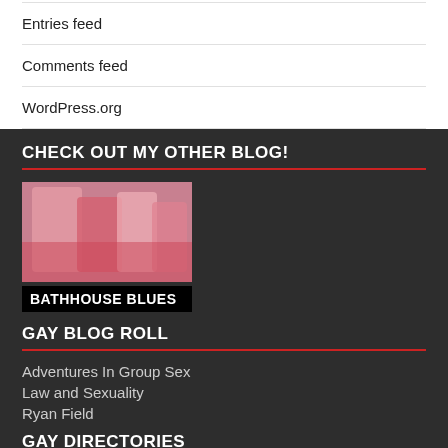Entries feed
Comments feed
WordPress.org
CHECK OUT MY OTHER BLOG!
[Figure (photo): Image for Bathhouse Blues blog with text overlay 'BATHHOUSE BLUES']
GAY BLOG ROLL
Adventures In Group Sex
Law and Sexuality
Ryan Field
GAY DIRECTORIES